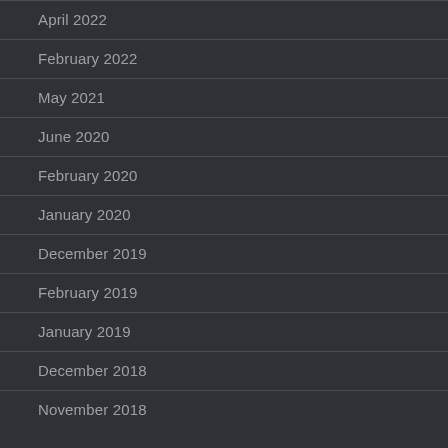April 2022
February 2022
May 2021
June 2020
February 2020
January 2020
December 2019
February 2019
January 2019
December 2018
November 2018